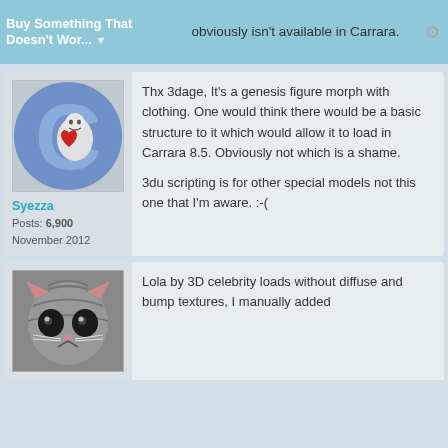Buy Something That Doesn't Wor... | obviously isn't available in Carrara.
[Figure (illustration): Forum user avatar: stylized blue C logo with cartoon character holding a red heart]
Syezza
Posts: 6,900
November 2012
Thx 3dage, It's a genesis figure morph with clothing. One would think there would be a basic structure to it which would allow it to load in Carrara 8.5. Obviously not which is a shame.

3du scripting is for other special models not this one that I'm aware. :-(
[Figure (photo): Close-up photo of a tabby cat face]
Lola by 3D celebrity loads without diffuse and bump textures, I manually added